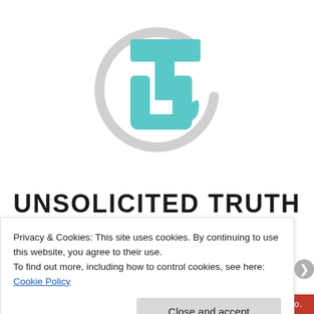[Figure (logo): Circular logo with a teal/turquoise stylized 'UT' or clock-like letter mark inside a gray circle outline. The teal shape resembles a T overlaid with a U, with a circular gray arc behind it.]
UNSOLICITED TRUTH
Privacy & Cookies: This site uses cookies. By continuing to use this website, you agree to their use.
To find out more, including how to control cookies, see here: Cookie Policy
Close and accept